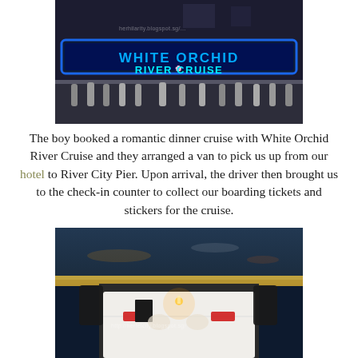[Figure (photo): Nighttime photo of White Orchid River Cruise boat with staff standing on deck, blue LED sign reading 'WHITE ORCHID RIVER CRUISE' lit up prominently]
The boy booked a romantic dinner cruise with White Orchid River Cruise and they arranged a van to pick us up from our hotel to River City Pier. Upon arrival, the driver then brought us to the check-in counter to collect our boarding tickets and stickers for the cruise.
[Figure (photo): Nighttime photo of a romantic dinner table set with white tablecloth, candle, red roses, and place settings on the deck of a river cruise with water visible in the background]